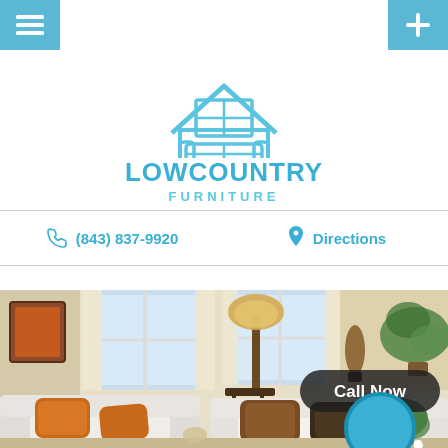[Figure (logo): Lowcountry Furniture logo — house outline with window and sofa icon in light blue, above the brand name]
LOWCOUNTRY FURNITURE
(843) 837-9920
Directions
[Figure (photo): Interior living room photo with white sofas, orange/rust throw pillows, a floor lamp, potted plants, and a framed painting. A 'Call Now' button overlay appears in the bottom right corner.]